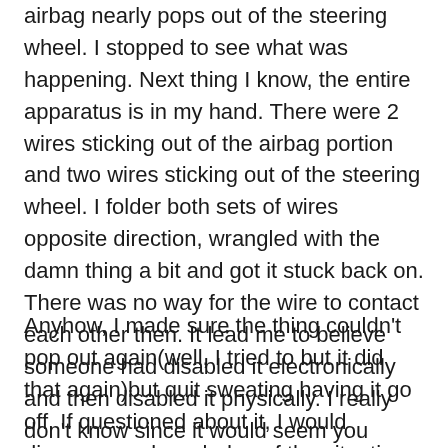airbag nearly pops out of the steering wheel. I stopped to see what was happening. Next thing I know, the entire apparatus is in my hand. There were 2 wires sticking out of the airbag portion and two wires sticking out of the steering wheel. I folder both sets of wires opposite direction, wrangled with the damn thing a bit and got it stuck back on. There was no way for the wire to contact each other then. It lead me to believe someone had disabled it electronically and then disabled it physically. I really don't know since it would seem you could unplug it and not have it activate.
Anyhow, I made sure the thing couldn't pop out again(well, I tried to but it did that again)but quit sweating having it go off. If questioned about it, I would disavow any knowledge of the situation.